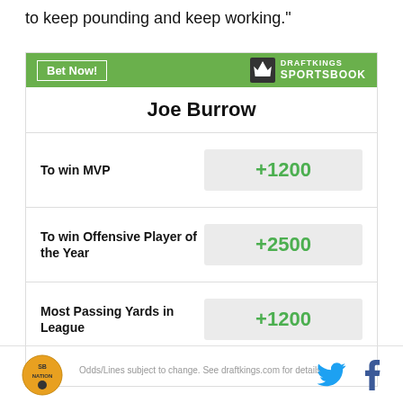to keep pounding and keep working."
[Figure (other): DraftKings Sportsbook odds widget for Joe Burrow showing: To win MVP +1200, To win Offensive Player of the Year +2500, Most Passing Yards in League +1200. Header has Bet Now button and DraftKings Sportsbook logo on green background. Footer disclaimer: Odds/Lines subject to change. See draftkings.com for details.]
SB Nation logo | Twitter icon | Facebook icon